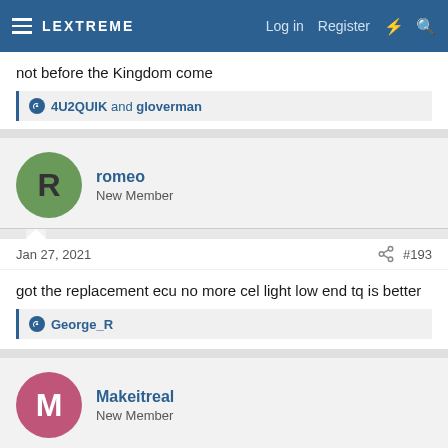LEXTREME — Log in  Register
not before the Kingdom come
👍 4U2QUIK and gloverman
romeo — New Member
Jan 27, 2021  #193
got the replacement ecu no more cel light low end tq is better
👍 George_R
Makeitreal — New Member